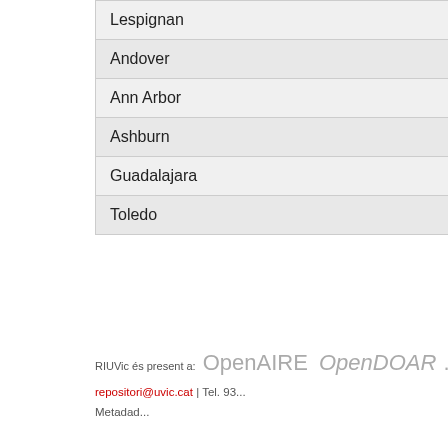| Lespignan |
| Andover |
| Ann Arbor |
| Ashburn |
| Guadalajara |
| Toledo |
RIUVic és present a: OpenAIRE OpenDOAR ...
repositori@uvic.cat | Tel. 93...
Metadad...